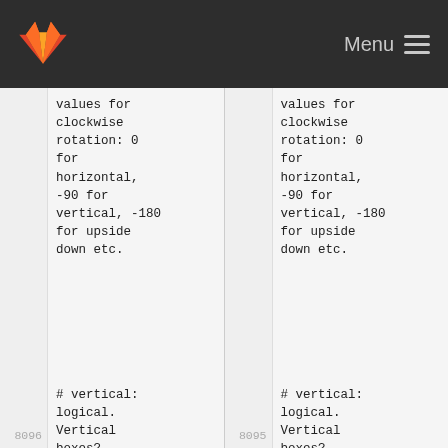Menu
values for clockwise rotation: 0 for horizontal, -90 for vertical, -180 for upside down etc.
8096 # vertical: logical. Vertical boxes? WARNING: will be automatically set to TRUE if y.log argument is other than "no". Indeed,
values for clockwise rotation: 0 for horizontal, -90 for vertical, -180 for upside down etc.
8095 # vertical: logical. Vertical boxes? WARNING: will be automatically set to TRUE if y.log argument is other than "no". Indeed,